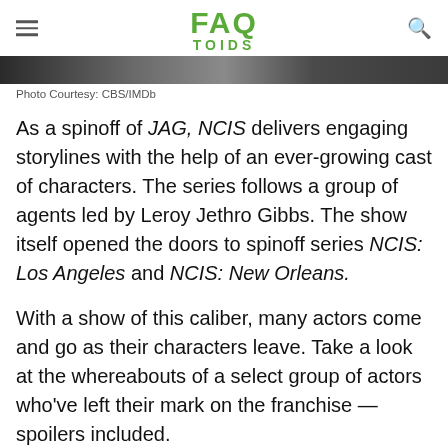FAQ TOIDS
[Figure (photo): Partial photo strip, dark image, appears to be a TV scene]
Photo Courtesy: CBS/IMDb
As a spinoff of JAG, NCIS delivers engaging storylines with the help of an ever-growing cast of characters. The series follows a group of agents led by Leroy Jethro Gibbs. The show itself opened the doors to spinoff series NCIS: Los Angeles and NCIS: New Orleans.
With a show of this caliber, many actors come and go as their characters leave. Take a look at the whereabouts of a select group of actors who've left their mark on the franchise — spoilers included.